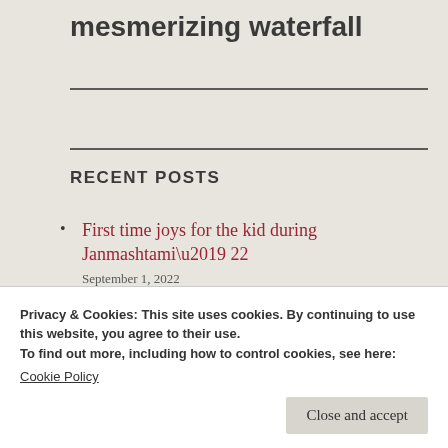mesmerizing waterfall
RECENT POSTS
First time joys for the kid during Janmashtami’22
September 1, 2022
Happy Janmashtami 2022
August 10, 2022
Privacy & Cookies: This site uses cookies. By continuing to use this website, you agree to their use.
To find out more, including how to control cookies, see here:
Cookie Policy